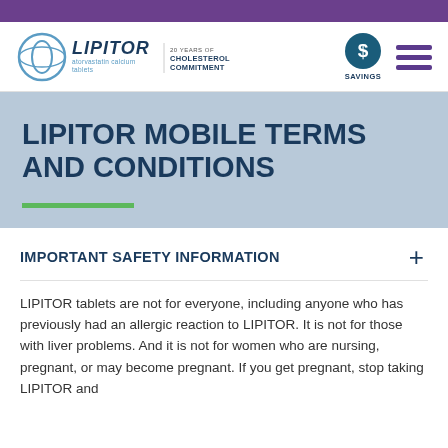[Figure (logo): Lipitor atorvastatin calcium tablets logo with '20 Years of Cholesterol Commitment' text, savings icon with dollar sign, and hamburger menu icon]
LIPITOR MOBILE TERMS AND CONDITIONS
IMPORTANT SAFETY INFORMATION
LIPITOR tablets are not for everyone, including anyone who has previously had an allergic reaction to LIPITOR. It is not for those with liver problems. And it is not for women who are nursing, pregnant, or may become pregnant. If you get pregnant, stop taking LIPITOR and